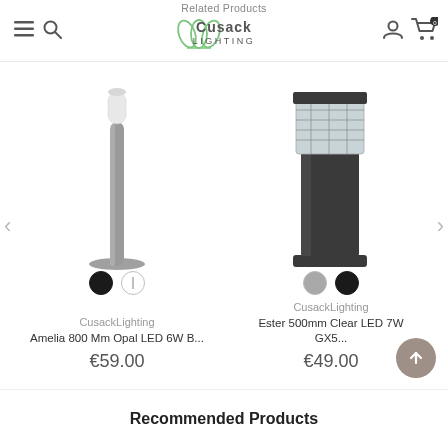Related Products — Cusack Lighting header navigation
[Figure (photo): Amelia 800mm bollard light — tall slim cylindrical grey post with white opal diffuser top]
[Figure (photo): Ester 500mm bollard light — dark grey square post with clear prismatic glass top]
CusackLighting
Amelia 800 Mm Opal LED 6W B...
€59.00
CusackLighting
Ester 500mm Clear LED 7W GX5...
€49.00
Recommended Products